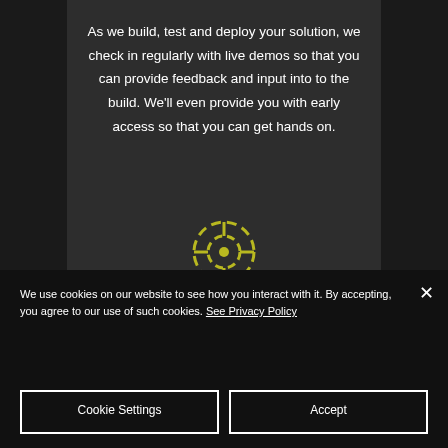As we build, test and deploy your solution, we check in regularly with live demos so that you can provide feedback and input into to the build. We'll even provide you with early access so that you can get hands on.
[Figure (illustration): Yellow circular lifesaver/target icon with dashed ring segments on dark background]
We use cookies on our website to see how you interact with it. By accepting, you agree to our use of such cookies. See Privacy Policy